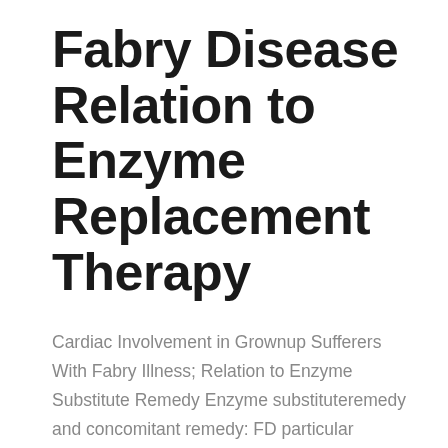Fabry Disease Relation to Enzyme Replacement Therapy
Cardiac Involvement in Grownup Sufferers With Fabry Illness; Relation to Enzyme Substitute Remedy Enzyme substituteremedy and concomitant remedy: FD particular remedy (ERT, enzyme substitute remedy)